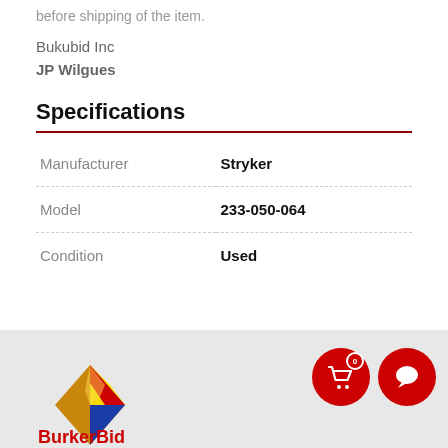before shipping of the item.
Bukubid Inc
JP Wilgues
Specifications
|  |  |
| --- | --- |
| Manufacturer | Stryker |
| Model | 233-050-064 |
| Condition | Used |
[Figure (logo): Bukubid/BurkerBid logo with colorful diamond shape (yellow, blue, red, gold) and partial brand name text in red and gold at bottom]
[Figure (infographic): Two red circular icons: shopping cart with badge showing 0, and chat/message bubble icon]